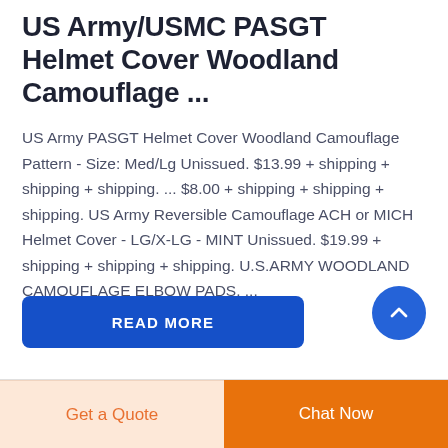US Army/USMC PASGT Helmet Cover Woodland Camouflage ...
US Army PASGT Helmet Cover Woodland Camouflage Pattern - Size: Med/Lg Unissued. $13.99 + shipping + shipping + shipping. ... $8.00 + shipping + shipping + shipping. US Army Reversible Camouflage ACH or MICH Helmet Cover - LG/X-LG - MINT Unissued. $19.99 + shipping + shipping + shipping. U.S.ARMY WOODLAND CAMOUFLAGE ELBOW PADS. ...
READ MORE
Get a Quote
Chat Now